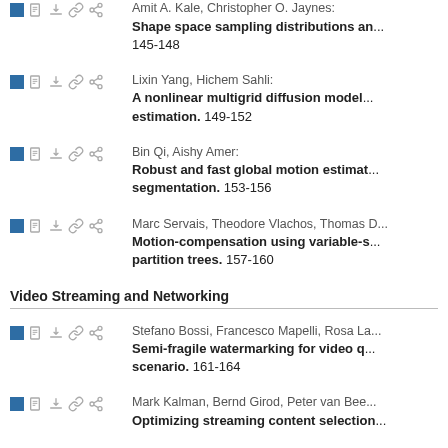Amit A. Kale, Christopher O. Jaynes: Shape space sampling distributions an... 145-148
Lixin Yang, Hichem Sahli: A nonlinear multigrid diffusion model ... estimation. 149-152
Bin Qi, Aishy Amer: Robust and fast global motion estimat... segmentation. 153-156
Marc Servais, Theodore Vlachos, Thomas D... Motion-compensation using variable-s... partition trees. 157-160
Video Streaming and Networking
Stefano Bossi, Francesco Mapelli, Rosa La... Semi-fragile watermarking for video q... scenario. 161-164
Mark Kalman, Bernd Girod, Peter van Bee... Optimizing streaming content selection...